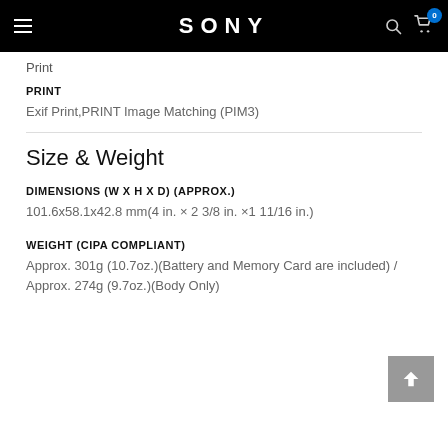SONY
Print
PRINT
Exif Print,PRINT Image Matching (PIM3)
Size & Weight
DIMENSIONS (W X H X D) (APPROX.)
101.6x58.1x42.8 mm(4 in. × 2 3/8 in. ×1 11/16 in.)
WEIGHT (CIPA COMPLIANT)
Approx. 301g (10.7oz.)(Battery and Memory Card are included) / Approx. 274g (9.7oz.)(Body Only)